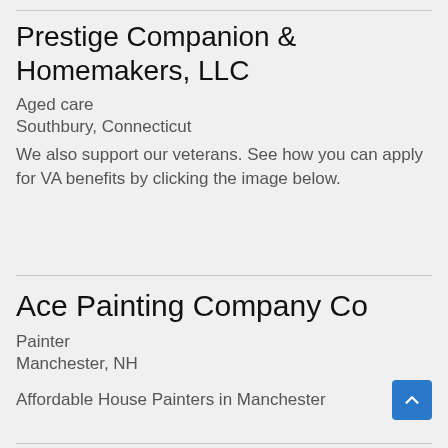Prestige Companion & Homemakers, LLC
Aged care
Southbury, Connecticut
We also support our veterans. See how you can apply for VA benefits by clicking the image below.
Ace Painting Company Co
Painter
Manchester, NH
Affordable House Painters in Manchester